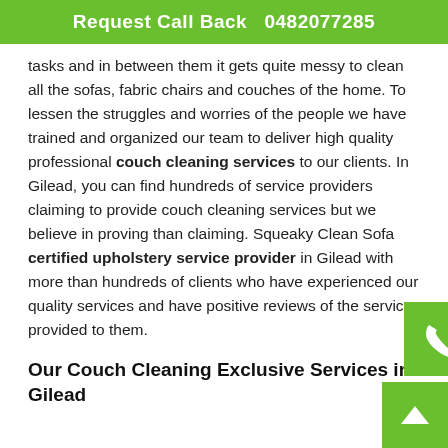Request Call Back   0482077285
tasks and in between them it gets quite messy to clean all the sofas, fabric chairs and couches of the home. To lessen the struggles and worries of the people we have trained and organized our team to deliver high quality professional couch cleaning services to our clients. In Gilead, you can find hundreds of service providers claiming to provide couch cleaning services but we believe in proving than claiming. Squeaky Clean Sofa certified upholstery service provider in Gilead with more than hundreds of clients who have experienced our quality services and have positive reviews of the services provided to them.
Our Couch Cleaning Exclusive Services in Gilead